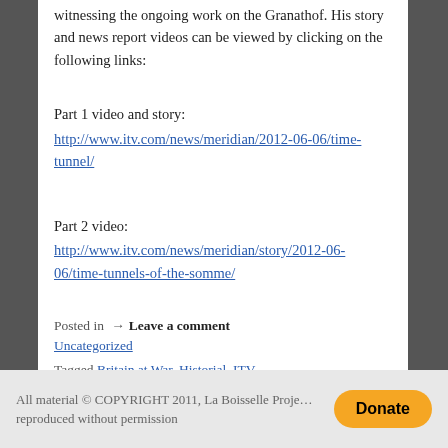witnessing the ongoing work on the Granathof. His story and news report videos can be viewed by clicking on the following links:
Part 1 video and story:
http://www.itv.com/news/meridian/2012-06-06/time-tunnel/
Part 2 video:
http://www.itv.com/news/meridian/story/2012-06-06/time-tunnels-of-the-somme/
Posted in → Leave a comment
Uncategorized
Tagged Britain at War, Historial, ITV, Meridian, Missing of the Somme
All material © COPYRIGHT 2011, La Boisselle Project. No material may be reproduced without permission